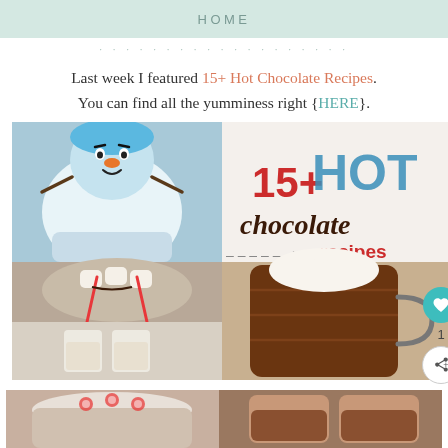HOME
Last week I featured 15+ Hot Chocolate Recipes. You can find all the yumminess right {HERE}.
[Figure (photo): Collage of hot chocolate recipes including an Olaf frozen-themed hot cocoa, peppermint hot chocolate with marshmallows, white hot chocolate in glasses, a large mug of hot chocolate with whipped cream, and two more partial photos at the bottom. Text overlay reads '15+ HOT chocolate recipes'.]